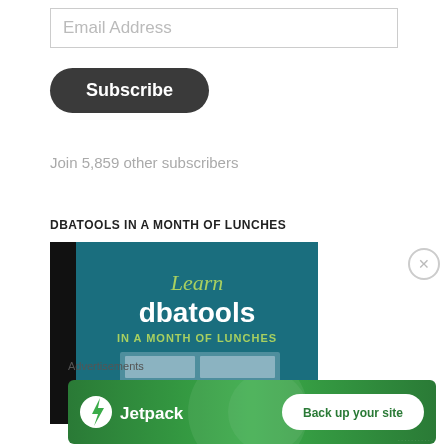Email Address
Subscribe
Join 5,859 other subscribers
DBATOOLS IN A MONTH OF LUNCHES
[Figure (illustration): Book cover showing 'Learn dbatools IN A MONTH OF LUNCHES' with teal background and a red MEAP banner overlay]
Advertisements
[Figure (infographic): Jetpack advertisement banner with green background showing Jetpack logo on left and 'Back up your site' button on right. Close X button on far right.]